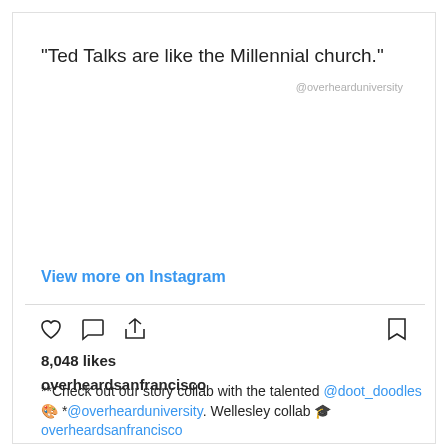"Ted Talks are like the Millennial church."
@overheardsanfrancisco
View more on Instagram
8,048 likes
overheardsanfrancisco
**Check out our story collab with the talented @doot_doodles 🎨 *@overhearduniversity. Wellesley collab 🎓 *overheardsanfrancisco